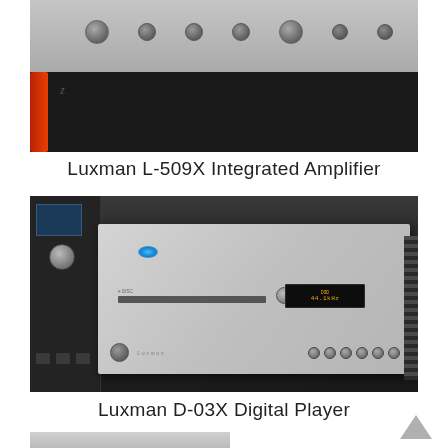[Figure (photo): Top portion of a Luxman integrated amplifier front panel with knobs, silver/gray chassis, on dark background]
Luxman L-509X Integrated Amplifier
[Figure (photo): Luxman D-03X Digital Player, silver CD player with blue LED, display showing 44.1kHz, control buttons, on dark background with equipment behind]
Luxman D-03X Digital Player
[Figure (photo): Partial bottom photo of another piece of silver audio equipment, cropped at page bottom]